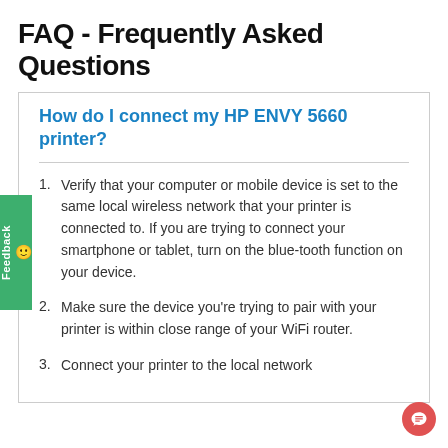FAQ - Frequently Asked Questions
How do I connect my HP ENVY 5660 printer?
Verify that your computer or mobile device is set to the same local wireless network that your printer is connected to. If you are trying to connect your smartphone or tablet, turn on the blue-tooth function on your device.
Make sure the device you're trying to pair with your printer is within close range of your WiFi router.
Connect your printer to the local network